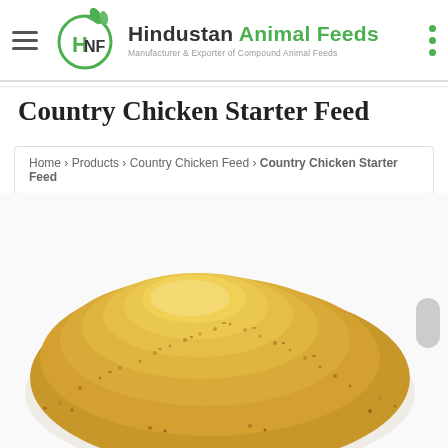Hindustan Animal Feeds — Manufacturer & Exporter of Compound Animal Feeds
Country Chicken Starter Feed
Home › Products › Country Chicken Feed › Country Chicken Starter Feed
[Figure (photo): Pile of golden-brown granulated country chicken starter feed on a white background]